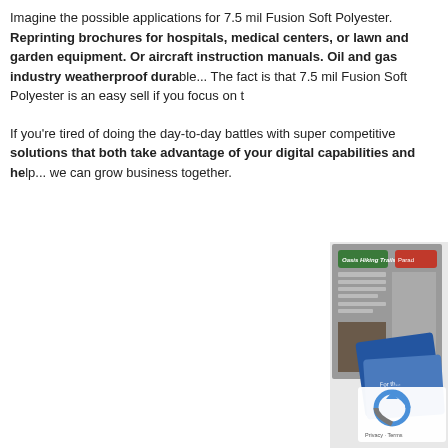Imagine the possible applications for 7.5 mil Fusion Soft Polyester. Reprinting brochures for hospitals, medical centers, or lawn and garden equipment. Or aircraft instruction manuals. Oil and gas industry weatherproof durable... The fact is that 7.5 mil Fusion Soft Polyester is an easy sell if you focus on the...
If you're tired of doing the day-to-day battles with super competitive... solutions that both take advantage of your digital capabilities and help... we can grow business together.
[Figure (photo): Photo of printed brochures/cards fanned out showing hiking trail guides with green and red header tabs, and a blue card with 'Activities' text. A reCAPTCHA overlay with Privacy and Terms is visible in the bottom right.]